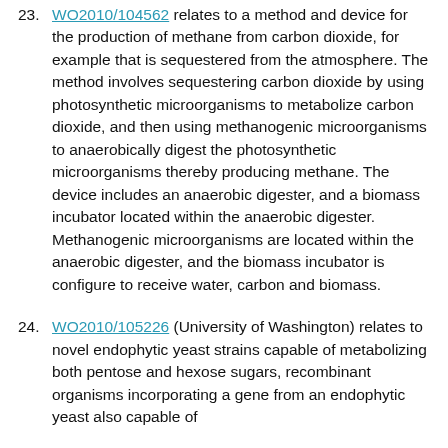23. WO2010/104562 relates to a method and device for the production of methane from carbon dioxide, for example that is sequestered from the atmosphere. The method involves sequestering carbon dioxide by using photosynthetic microorganisms to metabolize carbon dioxide, and then using methanogenic microorganisms to anaerobically digest the photosynthetic microorganisms thereby producing methane. The device includes an anaerobic digester, and a biomass incubator located within the anaerobic digester. Methanogenic microorganisms are located within the anaerobic digester, and the biomass incubator is configure to receive water, carbon and biomass.
24. WO2010/105226 (University of Washington) relates to novel endophytic yeast strains capable of metabolizing both pentose and hexose sugars, recombinant organisms incorporating a gene from an endophytic yeast also capable of